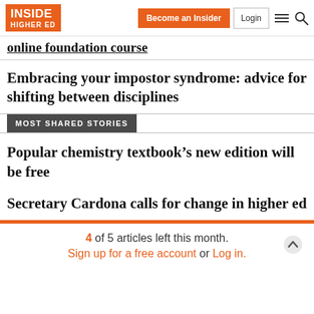INSIDE HIGHER ED | Become an Insider | Login
online foundation course
Embracing your impostor syndrome: advice for shifting between disciplines
MOST SHARED STORIES
Popular chemistry textbook's new edition will be free
Secretary Cardona calls for change in higher ed
4 of 5 articles left this month. Sign up for a free account or Log in.